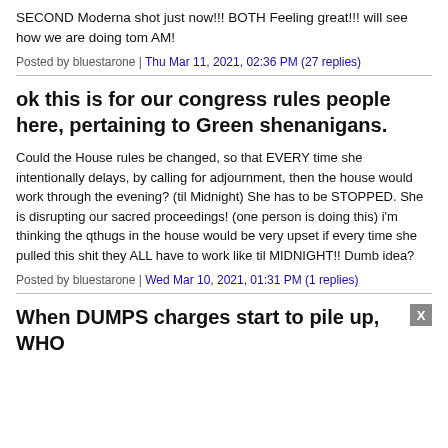SECOND Moderna shot just now!!! BOTH Feeling great!!! will see how we are doing tom AM!
Posted by bluestarone | Thu Mar 11, 2021, 02:36 PM (27 replies)
ok this is for our congress rules people here, pertaining to Green shenanigans.
Could the House rules be changed, so that EVERY time she intentionally delays, by calling for adjournment, then the house would work through the evening? (til Midnight) She has to be STOPPED. She is disrupting our sacred proceedings! (one person is doing this) i'm thinking the qthugs in the house would be very upset if every time she pulled this shit they ALL have to work like til MIDNIGHT!! Dumb idea?
Posted by bluestarone | Wed Mar 10, 2021, 01:31 PM (1 replies)
When DUMPS charges start to pile up, WHO